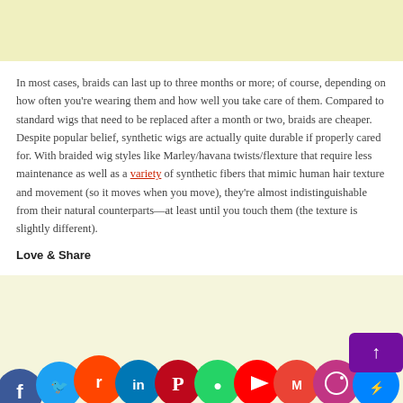In most cases, braids can last up to three months or more; of course, depending on how often you're wearing them and how well you take care of them. Compared to standard wigs that need to be replaced after a month or two, braids are cheaper. Despite popular belief, synthetic wigs are actually quite durable if properly cared for. With braided wig styles like Marley/havana twists/flexture that require less maintenance as well as a variety of synthetic fibers that mimic human hair texture and movement (so it moves when you move), they're almost indistinguishable from their natural counterparts—at least until you touch them (the texture is slightly different).
Love & Share
[Figure (infographic): Row of social media sharing icons: Facebook, Twitter, Reddit, LinkedIn, Pinterest, WhatsApp, YouTube, Gmail, Instagram, Messenger, Yahoo]